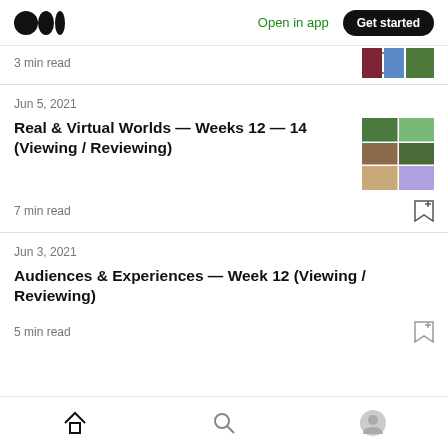Medium logo | Open in app | Get started
3 min read
Jun 5, 2021
Real & Virtual Worlds — Weeks 12 — 14 (Viewing / Reviewing)
7 min read
Jun 3, 2021
Audiences & Experiences — Week 12 (Viewing / Reviewing)
5 min read